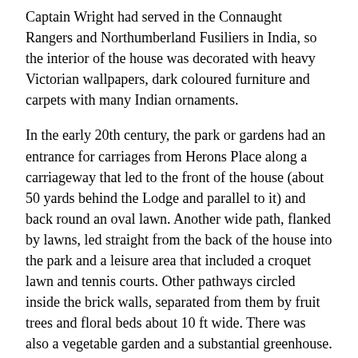Captain Wright had served in the Connaught Rangers and Northumberland Fusiliers in India, so the interior of the house was decorated with heavy Victorian wallpapers, dark coloured furniture and carpets with many Indian ornaments.
In the early 20th century, the park or gardens had an entrance for carriages from Herons Place along a carriageway that led to the front of the house (about 50 yards behind the Lodge and parallel to it) and back round an oval lawn. Another wide path, flanked by lawns, led straight from the back of the house into the park and a leisure area that included a croquet lawn and tennis courts. Other pathways circled inside the brick walls, separated from them by fruit trees and floral beds about 10 ft wide. There was also a vegetable garden and a substantial greenhouse. hidden away behind trees, to provide fresh produce for the family. This included an area heated by a coal boiler to grow grapes and exotic plants. There were ponds and hundreds of trees in the grounds, under which many thousand naturalized daffodils and tulips made a wonderful show in the Spring.
After Captain Wright's death in the 1960s, his family was faced by a quandary. Either they could spend a considerable